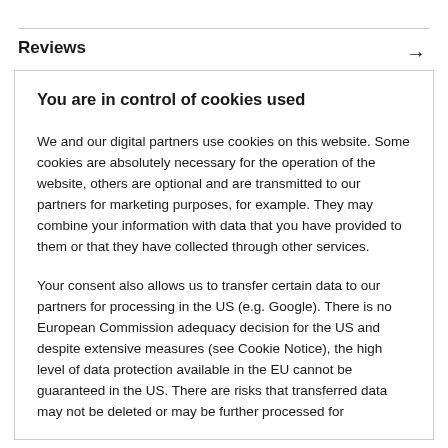Reviews
You are in control of cookies used
We and our digital partners use cookies on this website. Some cookies are absolutely necessary for the operation of the website, others are optional and are transmitted to our partners for marketing purposes, for example. They may combine your information with data that you have provided to them or that they have collected through other services.
Your consent also allows us to transfer certain data to our partners for processing in the US (e.g. Google). There is no European Commission adequacy decision for the US and despite extensive measures (see Cookie Notice), the high level of data protection available in the EU cannot be guaranteed in the US. There are risks that transferred data may not be deleted or may be further processed for